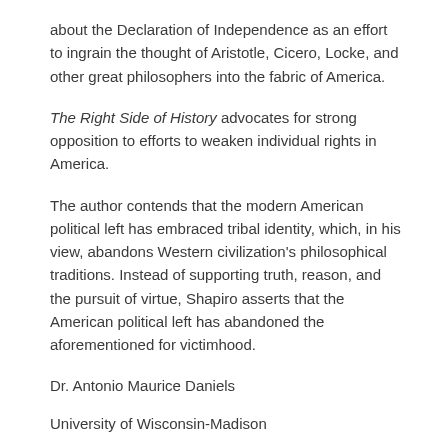about the Declaration of Independence as an effort to ingrain the thought of Aristotle, Cicero, Locke, and other great philosophers into the fabric of America.
The Right Side of History advocates for strong opposition to efforts to weaken individual rights in America.
The author contends that the modern American political left has embraced tribal identity, which, in his view, abandons Western civilization's philosophical traditions. Instead of supporting truth, reason, and the pursuit of virtue, Shapiro asserts that the American political left has abandoned the aforementioned for victimhood.
Dr. Antonio Maurice Daniels
University of Wisconsin-Madison
[Figure (other): Rate this widget with 5 gold stars, an info icon, and '1 Votes' text]